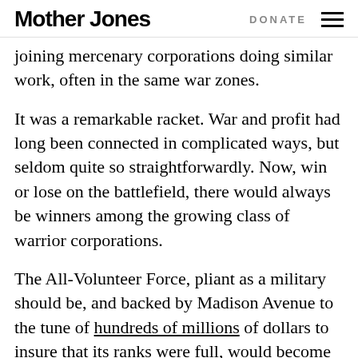Mother Jones | DONATE
joining mercenary corporations doing similar work, often in the same war zones.
It was a remarkable racket. War and profit had long been connected in complicated ways, but seldom quite so straightforwardly. Now, win or lose on the battlefield, there would always be winners among the growing class of warrior corporations.
The All-Volunteer Force, pliant as a military should be, and backed by Madison Avenue to the tune of hundreds of millions of dollars to insure that its ranks were full, would become ever more detached from most of American society. It would, in fact, become ever more foreign (akin "foreign legion")